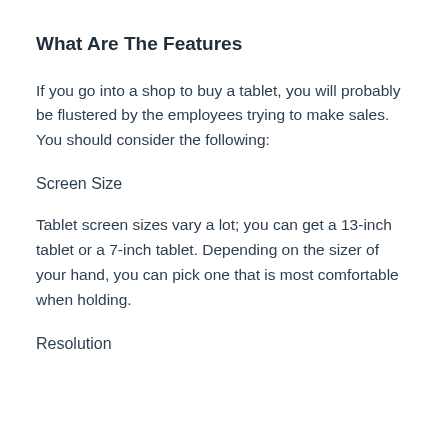What Are The Features
If you go into a shop to buy a tablet, you will probably be flustered by the employees trying to make sales. You should consider the following:
Screen Size
Tablet screen sizes vary a lot; you can get a 13-inch tablet or a 7-inch tablet. Depending on the sizer of your hand, you can pick one that is most comfortable when holding.
Resolution